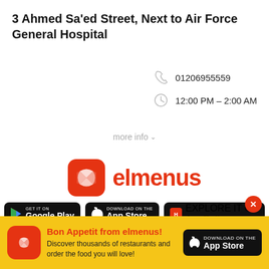3 Ahmed Sa'ed Street, Next to Air Force General Hospital
01206955559
12:00 PM – 2:00 AM
more info
[Figure (logo): Elmenus logo — red rounded square book icon with 'elmenus' in red text]
[Figure (infographic): Three app store download buttons: Google Play, App Store, AppGallery]
Bon Appetit from elmenus! Discover thousands of restaurants and order the food you will love!